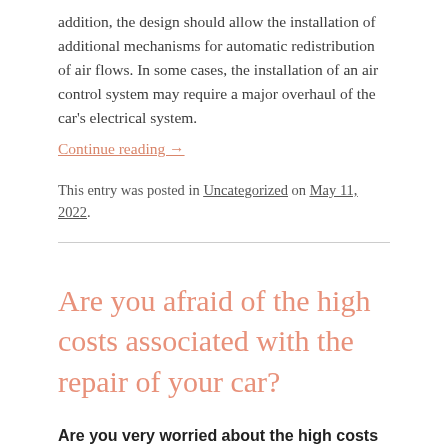addition, the design should allow the installation of additional mechanisms for automatic redistribution of air flows. In some cases, the installation of an air control system may require a major overhaul of the car's electrical system.
Continue reading →
This entry was posted in Uncategorized on May 11, 2022.
Are you afraid of the high costs associated with the repair of your car?
Are you very worried about the high costs associated with the repair of your car? In your